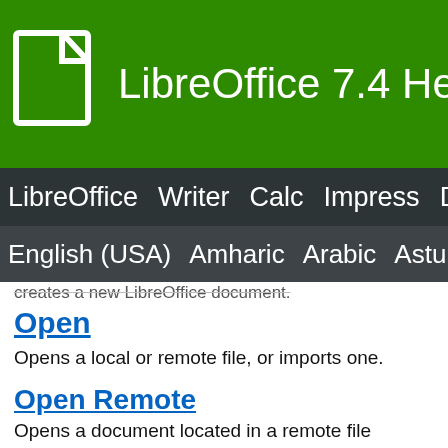LibreOffice 7.4 Help
LibreOffice  Writer  Calc  Impress  Draw
English (USA)  Amharic  Arabic  Asturi
creates a new LibreOffice document.
Open
Opens a local or remote file, or imports one.
Open Remote
Opens a document located in a remote file service.
Recent Documents
Lists the most recently opened files. To open a file in the list, click its name.